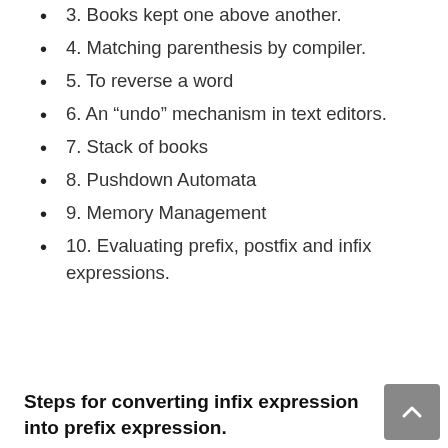3. Books kept one above another.
4. Matching parenthesis by compiler.
5. To reverse a word
6. An “undo” mechanism in text editors.
7. Stack of books
8. Pushdown Automata
9. Memory Management
10. Evaluating prefix, postfix and infix expressions.
Steps for converting infix expression into prefix expression.